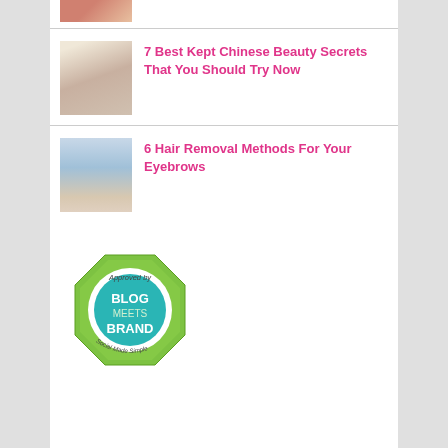[Figure (photo): Partial top image — colorful items, cropped at top]
7 Best Kept Chinese Beauty Secrets That You Should Try Now
[Figure (photo): Woman with dark hair showing shoulder, beauty article thumbnail]
6 Hair Removal Methods For Your Eyebrows
[Figure (photo): Close-up of woman's face with prominent eyebrows and blue eyes]
[Figure (logo): Blog Meets Brand badge — green octagon with teal circle, text: Approved by Blog Meets Brand Social Made Simple]